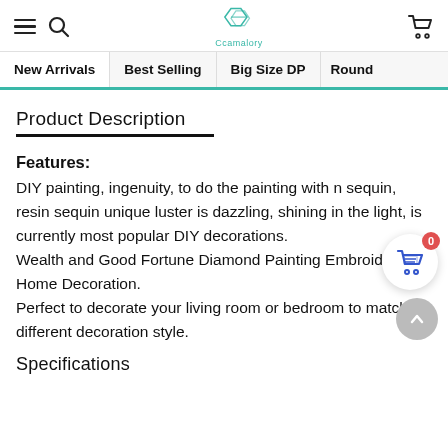Ccamalory [logo] navigation header with hamburger menu, search, and cart icons
New Arrivals | Best Selling | Big Size DP | Round
Product Description
Features:
DIY painting, ingenuity, to do the painting with n... sequin, resin sequin unique luster is dazzling, shining in the light, is currently most popular DIY decorations.
Wealth and Good Fortune Diamond Painting Embroidery Home Decoration.
Perfect to decorate your living room or bedroom to match different decoration style.
Specifications